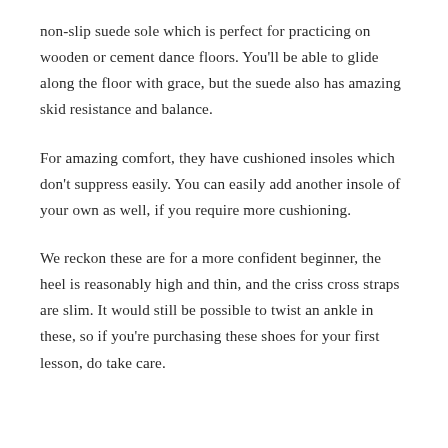non-slip suede sole which is perfect for practicing on wooden or cement dance floors. You'll be able to glide along the floor with grace, but the suede also has amazing skid resistance and balance.
For amazing comfort, they have cushioned insoles which don't suppress easily. You can easily add another insole of your own as well, if you require more cushioning.
We reckon these are for a more confident beginner, the heel is reasonably high and thin, and the criss cross straps are slim. It would still be possible to twist an ankle in these, so if you're purchasing these shoes for your first lesson, do take care.